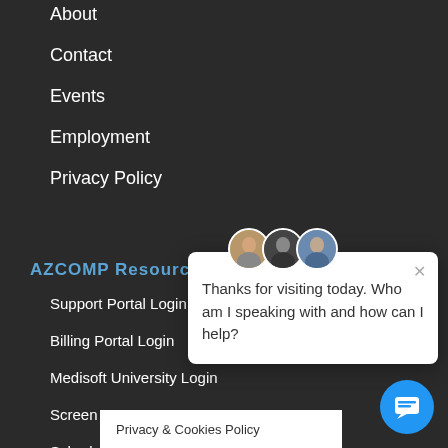About
Contact
Events
Employment
Privacy Policy
AZCOMP Resources
Support Portal Login
Billing Portal Login
Medisoft University Login
Screen Connect
Schedul
[Figure (screenshot): Live chat popup with three avatar photos and message: Thanks for visiting today. Who am I speaking with and how can I help? With close button (x) and blue chat button.]
Privacy & Cookies Policy